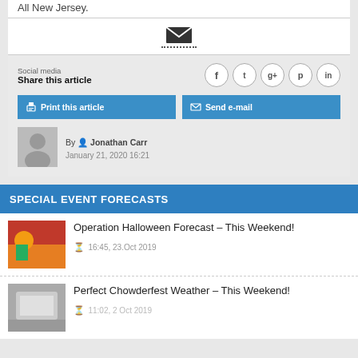All New Jersey.
[Figure (illustration): Email envelope icon with dotted underline]
Social media
Share this article
[Figure (infographic): Social sharing icons: Facebook, Twitter, Google+, Pinterest, LinkedIn]
Print this article
Send e-mail
[Figure (photo): Author photo of Jonathan Carr]
By Jonathan Carr
January 21, 2020 16:21
SPECIAL EVENT FORECASTS
[Figure (photo): Thumbnail image for Operation Halloween Forecast article - person in autumn scene]
Operation Halloween Forecast – This Weekend!
16:45, 23.Oct 2019
[Figure (photo): Thumbnail image for Perfect Chowderfest Weather article]
Perfect Chowderfest Weather – This Weekend!
11:02, 2 Oct 2019